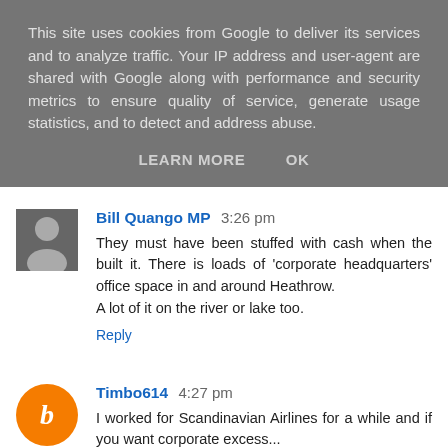This site uses cookies from Google to deliver its services and to analyze traffic. Your IP address and user-agent are shared with Google along with performance and security metrics to ensure quality of service, generate usage statistics, and to detect and address abuse.
LEARN MORE   OK
Bill Quango MP  3:26 pm
They must have been stuffed with cash when the built it. There is loads of 'corporate headquarters' office space in and around Heathrow.
A lot of it on the river or lake too.
Reply
Timbo614  4:27 pm
I worked for Scandinavian Airlines for a while and if you want corporate excess...